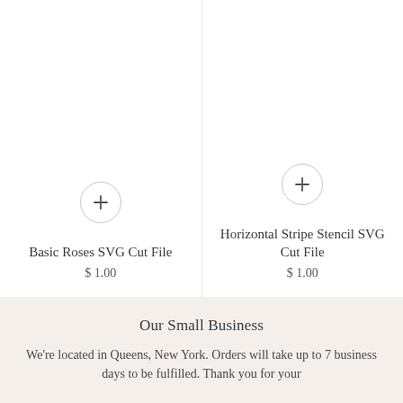Basic Roses SVG Cut File
$ 1.00
Horizontal Stripe Stencil SVG Cut File
$ 1.00
Our Small Business
We're located in Queens, New York. Orders will take up to 7 business days to be fulfilled. Thank you for your